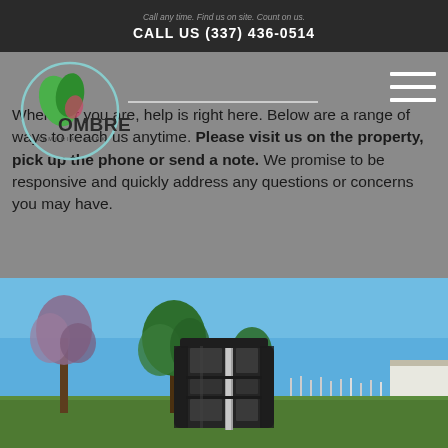CALL US (337) 436-0514
[Figure (logo): Ombre Memorial Park circular logo with green leaf design]
Wherever you are, help is right here. Below are a range of ways to reach us anytime. Please visit us on the property, pick up the phone or send a note. We promise to be responsive and quickly address any questions or concerns you may have.
[Figure (photo): Outdoor cemetery grounds showing a dark cylindrical columbarium structure, trees, grave markers, and blue sky]